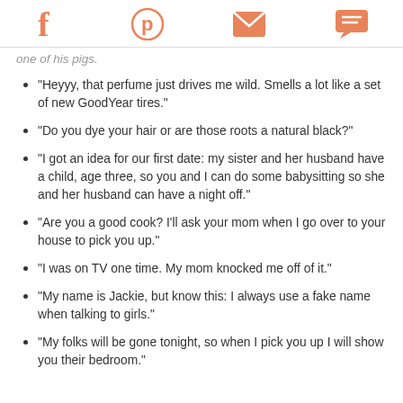Social sharing icons: Facebook, Pinterest, Email, Chat
one of his pigs.
“Heyyy, that perfume just drives me wild. Smells a lot like a set of new GoodYear tires.”
“Do you dye your hair or are those roots a natural black?”
“I got an idea for our first date: my sister and her husband have a child, age three, so you and I can do some babysitting so she and her husband can have a night off.”
“Are you a good cook? I’ll ask your mom when I go over to your house to pick you up.”
“I was on TV one time. My mom knocked me off of it.”
“My name is Jackie, but know this: I always use a fake name when talking to girls.”
“My folks will be gone tonight, so when I pick you up I will show you their bedroom.”